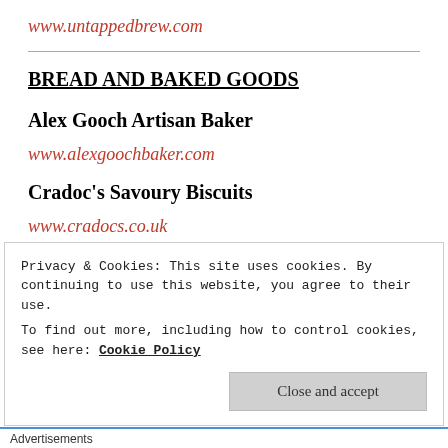www.untappedbrew.com
BREAD AND BAKED GOODS
Alex Gooch Artisan Baker
www.alexgoochbaker.com
Cradoc's Savoury Biscuits
www.cradocs.co.uk
Privacy & Cookies: This site uses cookies. By continuing to use this website, you agree to their use. To find out more, including how to control cookies, see here: Cookie Policy
Close and accept
Advertisements